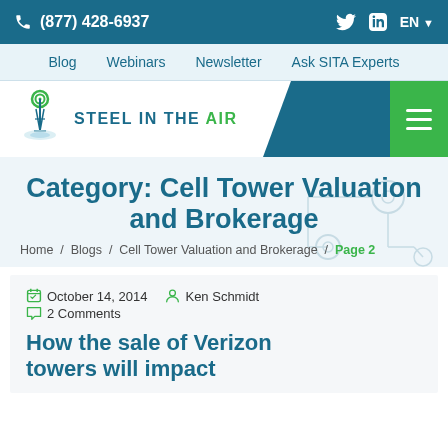(877) 428-6937
Blog  Webinars  Newsletter  Ask SITA Experts
[Figure (logo): Steel in the Air logo with cell tower graphic and text STEEL IN THE AIR]
Category: Cell Tower Valuation and Brokerage
Home / Blogs / Cell Tower Valuation and Brokerage / Page 2
October 14, 2014  Ken Schmidt  2 Comments
How the sale of Verizon towers will impact